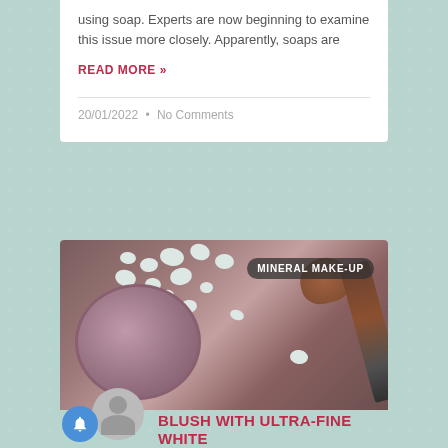using soap. Experts are now beginning to examine this issue more closely. Apparently, soaps are
READ MORE »
20/01/2022  •  No Comments
[Figure (photo): Photo of mineral makeup: a round container of pink/mauve loose powder with white pebble stones around it, and a makeup brush with a dark handle resting nearby on a wooden surface. A dark rounded tag reads 'MINERAL MAKE-UP' in the top right corner.]
BLUSH WITH ULTRA-FINE WHITE